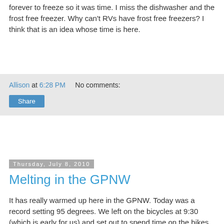forever to freeze so it was time. I miss the dishwasher and the frost free freezer. Why can't RVs have frost free freezers? I think that is an idea whose time is here.
Allison at 6:28 PM    No comments:
Share
Thursday, July 8, 2010
Melting in the GPNW
It has really warmed up here in the GPNW. Today was a record setting 95 degrees. We left on the bicycles at 9:30 (which is early for us) and set out to spend time on the bikes. We have not been doing long rides of late, and since we have signed up to do some of the Seattle to Portland ride, we need to toughen up our bottoms. So, we rode from Issaquah, across Lake Washington and around the north end of the lake. I have to tell you, the last hour was trying, I have not been that hot in since I can remember. We got 60 miles, so now we know we can go that far.